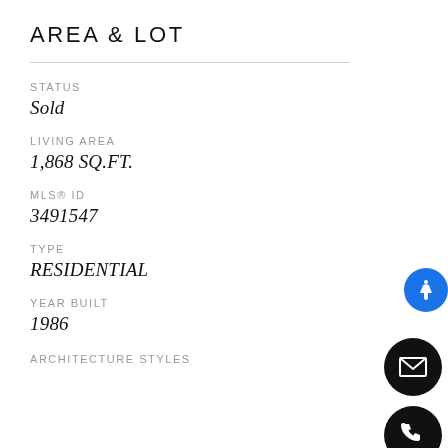AREA & LOT
STATUS
Sold
LIVING AREA
1,868 SQ.FT.
MLS® ID
3491547
TYPE
RESIDENTIAL
YEAR BUILT
1986
ARCHITECTURE STYLES